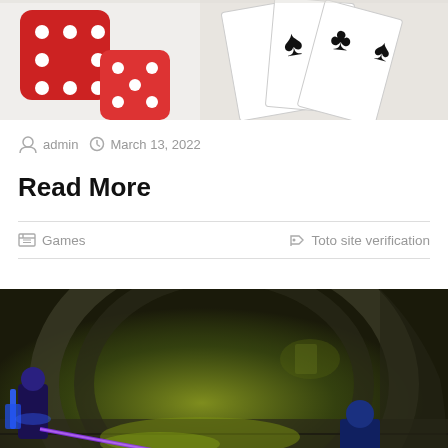[Figure (photo): Red dice and playing cards on a white background]
admin  March 13, 2022
Read More
Games    Toto site verification
[Figure (photo): Video game screenshot showing a fantasy dungeon corridor with characters]